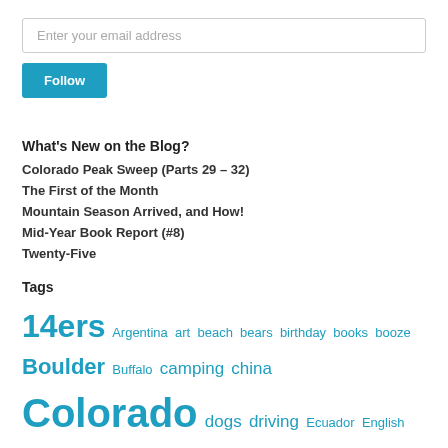Enter your email address
Follow
What's New on the Blog?
Colorado Peak Sweep (Parts 29 – 32)
The First of the Month
Mountain Season Arrived, and How!
Mid-Year Book Report (#8)
Twenty-Five
Tags
14ers Argentina art beach bears birthday books booze Boulder Buffalo camping china Colorado dogs driving Ecuador English exercise fiction food foreign language friends hiking international